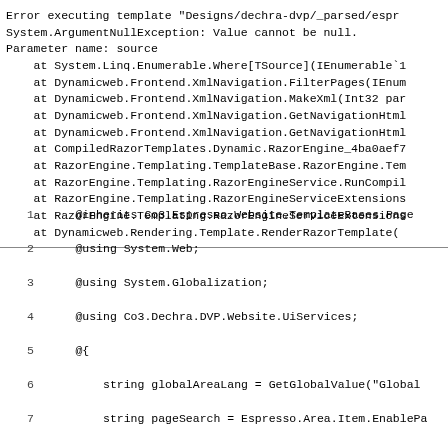Error executing template "Designs/dechra-dvp/_parsed/espr
System.ArgumentNullException: Value cannot be null.
Parameter name: source
    at System.Linq.Enumerable.Where[TSource](IEnumerable`1
    at Dynamicweb.Frontend.XmlNavigation.FilterPages(IEnum
    at Dynamicweb.Frontend.XmlNavigation.MakeXml(Int32 par
    at Dynamicweb.Frontend.XmlNavigation.GetNavigationHtml
    at Dynamicweb.Frontend.XmlNavigation.GetNavigationHtml
    at CompiledRazorTemplates.Dynamic.RazorEngine_4ba0aef7
    at RazorEngine.Templating.TemplateBase.RazorEngine.Tem
    at RazorEngine.Templating.RazorEngineService.RunCompil
    at RazorEngine.Templating.RazorEngineServiceExtensions
    at RazorEngine.Templating.RazorEngineServiceExtensions
    at Dynamicweb.Rendering.Template.RenderRazorTemplate(
1     @inherits Co3.Espresso.Website.TemplateBases.Page
2     @using System.Web;
3     @using System.Globalization;
4     @using Co3.Dechra.DVP.Website.UiServices;
5     @{
6         string globalAreaLang = GetGlobalValue("Global
7         string pageSearch = Espresso.Area.Item.EnablePa
8         string productSearch = Espresso.Area.Item.Enabl
9         string hasShop = Espresso.Area.Item.Shop;
10        bool isRendering404Page = HttpContext.Current.R
11        bool hasAccess = ExtranetUiService.HasAccess();
12        string urlToken = HttpContext.Current.Request[
13